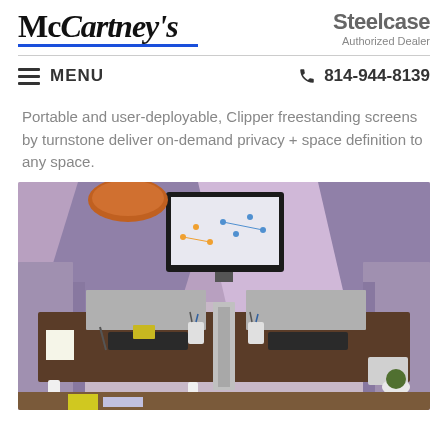[Figure (logo): McCartney's logo with blue underline]
[Figure (logo): Steelcase Authorized Dealer logo]
≡ MENU   ☎ 814-944-8139
Portable and user-deployable, Clipper freestanding screens by turnstone deliver on-demand privacy + space definition to any space.
[Figure (photo): Overhead view of office workstation setup with Clipper freestanding screens by turnstone. Shows two desk surfaces with monitors, laptops, desk accessories, and purple/mauve colored fabric privacy screens dividing the space.]